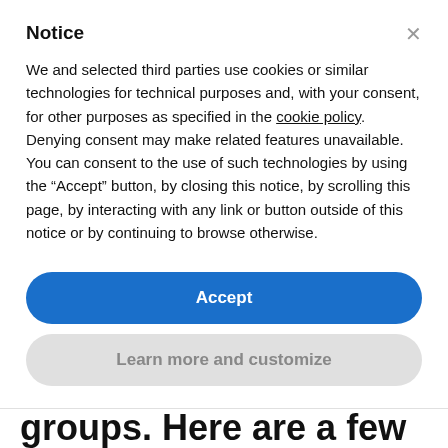Notice
We and selected third parties use cookies or similar technologies for technical purposes and, with your consent, for other purposes as specified in the cookie policy. Denying consent may make related features unavailable. You can consent to the use of such technologies by using the “Accept” button, by closing this notice, by scrolling this page, by interacting with any link or button outside of this notice or by continuing to browse otherwise.
Accept
Learn more and customize
determinants of health may further contribute to the effect on racial and ethnic minority groups. Here are a few